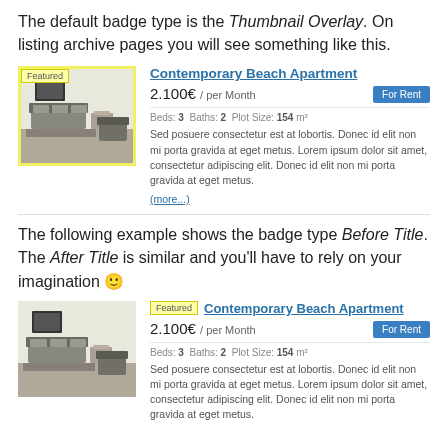The default badge type is the Thumbnail Overlay. On listing archive pages you will see something like this.
[Figure (screenshot): Listing card showing Contemporary Beach Apartment with yellow-bordered thumbnail image, 'Featured' overlay badge, title link, 2.100€/per Month price, 'For Rent' blue button, property meta (Beds: 3, Baths: 2, Plot Size: 154 m²), description text, and (more...) link]
The following example shows the badge type Before Title. The After Title is similar and you'll have to rely on your imagination 🙂
[Figure (screenshot): Second listing card showing Contemporary Beach Apartment with plain thumbnail, 'Featured' badge before title, 2.100€/per Month price, 'For Rent' blue button, property meta (Beds: 3, Baths: 2, Plot Size: 154 m²), and description text]